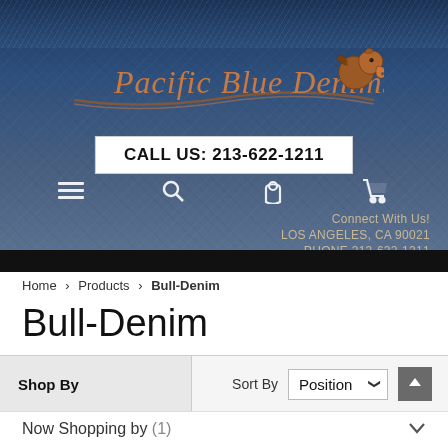[Figure (logo): Pacific Blue Denims logo with horse graphic and copper/bronze script lettering on denim-textured blue background]
CALL US: 213-622-1211
Connect With Us!
LOS ANGELES, CA 90021
PHONE 213-622-1211
Home > Products > Bull-Denim
Bull-Denim
Shop By
Sort By  Position
Now Shopping by (1)